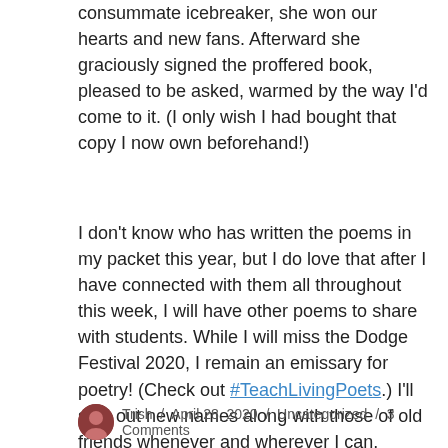consummate icebreaker, she won our hearts and new fans. Afterward she graciously signed the proffered book, pleased to be asked, warmed by the way I'd come to it. (I only wish I had bought that copy I now own beforehand!)
I don't know who has written the poems in my packet this year, but I do love that after I have connected with them all throughout this week, I will have other poems to share with students. While I will miss the Dodge Festival 2020, I remain an emissary for poetry! (Check out #TeachLivingPoets.) I'll sing out new names along with those of old friends whenever and wherever I can.
Trish / April 28, 2020 / Uncategorized / 3 Comments